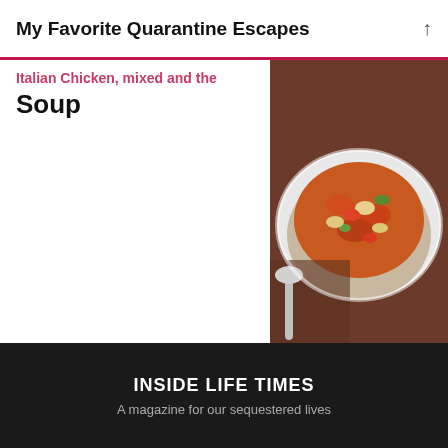My Favorite Quarantine Escapes
Italian Chicken, mixed and Soup
[Figure (photo): Bowl of Italian chicken mixed soup with vegetables and pasta shells, with a spoon beside it]
NEXT ENTRY
What Is Your Vision for the Future?
[Figure (photo): Sunset over ocean with silhouetted palm trees and rocky cliffside, golden and orange sky]
INSIDE LIFE TIMES
A magazine for our sequestered lives